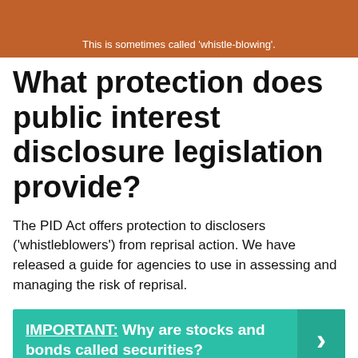[Figure (photo): Top banner image with person and orange background, caption reads: This is sometimes called 'whistle-blowing'.]
What protection does public interest disclosure legislation provide?
The PID Act offers protection to disclosers ('whistleblowers') from reprisal action. We have released a guide for agencies to use in assessing and managing the risk of reprisal.
IMPORTANT: Why are stocks and bonds called securities?
What type of disclosures are protected by whistleblowing